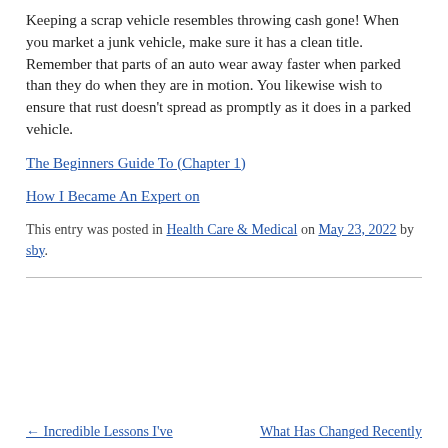Keeping a scrap vehicle resembles throwing cash gone! When you market a junk vehicle, make sure it has a clean title. Remember that parts of an auto wear away faster when parked than they do when they are in motion. You likewise wish to ensure that rust doesn't spread as promptly as it does in a parked vehicle.
The Beginners Guide To (Chapter 1)
How I Became An Expert on
This entry was posted in Health Care & Medical on May 23, 2022 by sby.
← Incredible Lessons I've
What Has Changed Recently